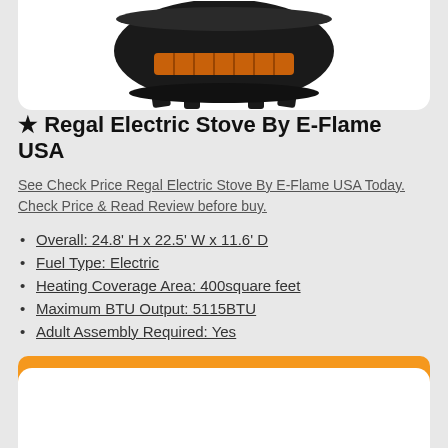[Figure (photo): Photo of a black electric stove/heater by E-Flame USA, round/drum-shaped with orange heating element visible, sitting on four legs, against white background]
★ Regal Electric Stove By E-Flame USA
See Check Price Regal Electric Stove By E-Flame USA Today. Check Price & Read Review before buy.
Overall: 24.8' H x 22.5' W x 11.6' D
Fuel Type: Electric
Heating Coverage Area: 400square feet
Maximum BTU Output: 5115BTU
Adult Assembly Required: Yes
Get it now on Wayfair.com